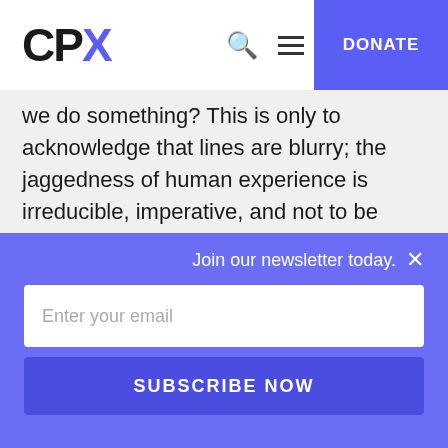CPX — DONATE
we do something? This is only to acknowledge that lines are blurry; the jaggedness of human experience is irreducible, imperative, and not to be gainsaid. We face terrible choices and do our best.

The law passed late last year in Victoria legalises
Join our newsletter today. ×
Enter your email
SUBSCRIBE NOW